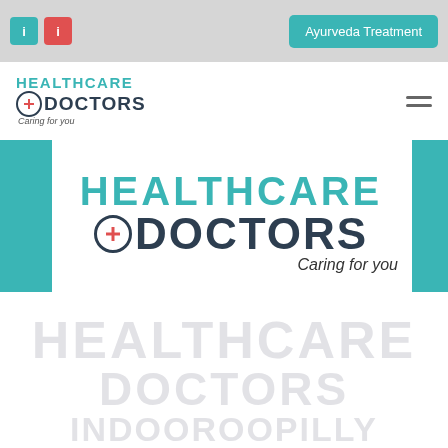Ayurveda Treatment
[Figure (logo): Healthcare Doctors - Caring for you logo in teal and dark navy colors with a medical cross symbol, shown in navigation bar]
[Figure (logo): Large Healthcare Doctors - Caring for you logo in center of page, teal text for HEALTHCARE, dark navy for DOCTORS with red cross circle symbol]
HEALTHCARE DOCTORS INDOOROOPILLY (watermark/ghost text at bottom of page)